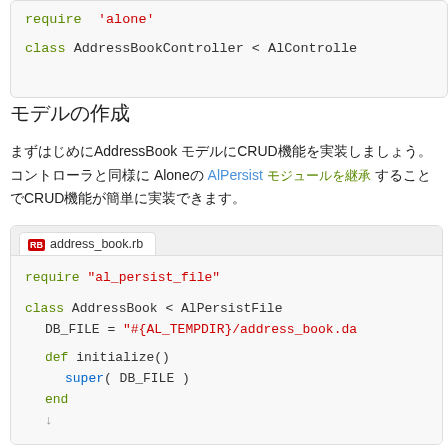[Figure (screenshot): Code block showing: require 'alone' and class AddressBookController < AlControlle]
モデルの作成
まずはじめにAddressBook モデルにCRUD機能を実装しましょう。コントローラと同様にAloneのAlPersist モジュールを継承することでCRUD機能が簡単に実装できます。
[Figure (screenshot): Code tab: address_book.rb showing Ruby code: require 'al_persist_file', class AddressBook < AlPersistFile, DB_FILE = '#{AL_TEMPDIR}/address_book.da', def initialize(), super( DB_FILE ), end]